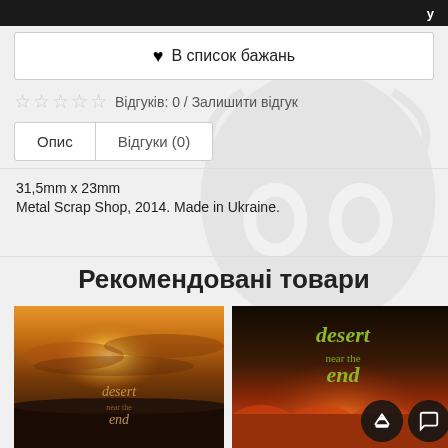[Figure (screenshot): Top black navigation bar with white text on right side]
♥ В список бажань
☆ ☆ ☆ ☆ ☆ Відгуків: 0 / Залишити відгук
| Опис | Відгуки (0) |
| --- | --- |
31,5mm x 23mm
Metal Scrap Shop, 2014. Made in Ukraine.
Рекомендовані товари
[Figure (photo): Album cover for Desert Near The End - left image showing sunset sky with golden light and band name 'desert near the end' in gothic font]
[Figure (photo): Album cover for Desert Near The End - right image showing fire landscape with 'desert near the end' text in green gothic font, with overlay navigation buttons]